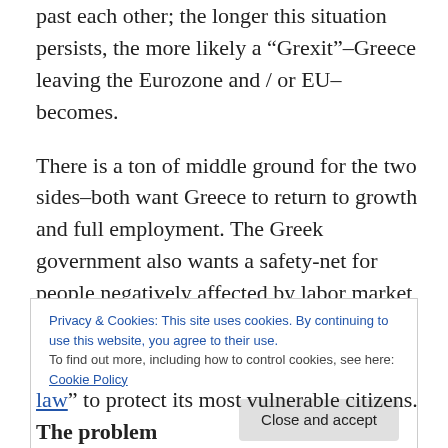past each other; the longer this situation persists, the more likely a “Grexit”–Greece leaving the Eurozone and / or EU–becomes.
There is a ton of middle ground for the two sides–both want Greece to return to growth and full employment. The Greek government also wants a safety-net for people negatively affected by labor market and other structural reforms; pushing already impoverished people further into poverty is not only morally reprehensible, it is bad economics.
Privacy & Cookies: This site uses cookies. By continuing to use this website, you agree to their use. To find out more, including how to control cookies, see here: Cookie Policy
Close and accept
law” to protect its most vulnerable citizens. The problem